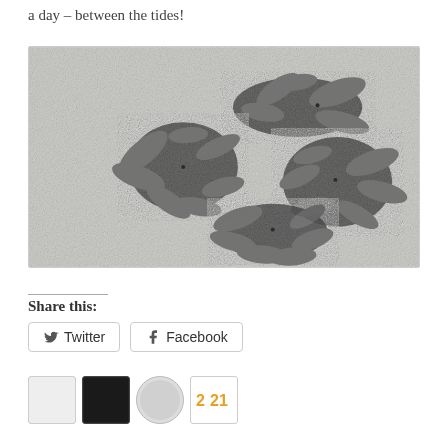a day – between the tides!
[Figure (photo): Photograph showing several sand dollar or brittle star aggregations on a sandy beach surface, with fractal-like feathery patterns of dark organisms clustered around central points on pale grey sand.]
Share this:
Twitter
Facebook